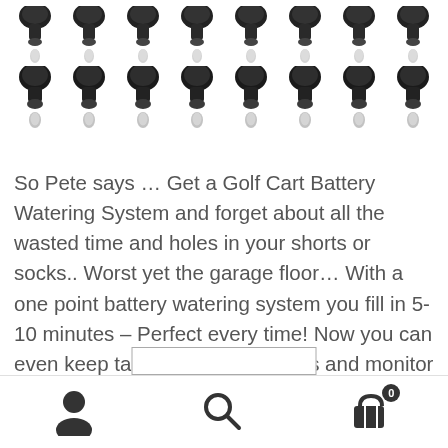[Figure (photo): Two rows of 8 black golf cart battery watering valve components each, shown as product images on white background]
So Pete says … Get a Golf Cart Battery Watering System and forget about all the wasted time and holes in your shorts or socks.. Worst yet the garage floor… With a one point battery watering system you fill in 5-10 minutes – Perfect every time! Now you can even keep tabs on individual cells and monitor electrolyte levels at a glance with the new BWT quick look indicators on each individual valve.
Navigation bar with user account, search, and shopping cart (0 items) icons